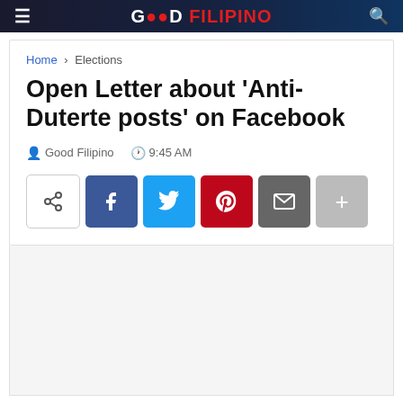GOOD FILIPINO
Home > Elections
Open Letter about 'Anti-Duterte posts' on Facebook
Good Filipino   9:45 AM
[Figure (other): Social share buttons: generic share, Facebook, Twitter, Pinterest, Email, More (+)]